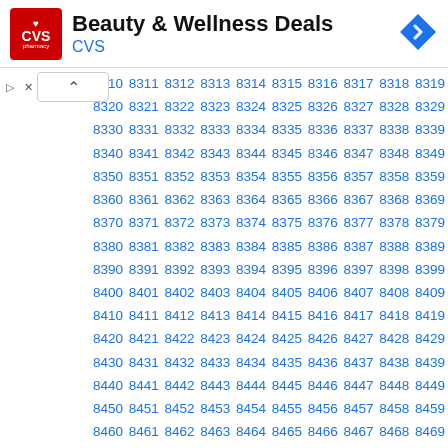[Figure (logo): CVS Pharmacy logo - red square with heart and CVS text]
Beauty & Wellness Deals
CVS
[Figure (other): Blue navigation arrow diamond icon]
| 8310 | 8311 | 8312 | 8313 | 8314 | 8315 | 8316 | 8317 | 8318 | 8319 |
| 8320 | 8321 | 8322 | 8323 | 8324 | 8325 | 8326 | 8327 | 8328 | 8329 |
| 8330 | 8331 | 8332 | 8333 | 8334 | 8335 | 8336 | 8337 | 8338 | 8339 |
| 8340 | 8341 | 8342 | 8343 | 8344 | 8345 | 8346 | 8347 | 8348 | 8349 |
| 8350 | 8351 | 8352 | 8353 | 8354 | 8355 | 8356 | 8357 | 8358 | 8359 |
| 8360 | 8361 | 8362 | 8363 | 8364 | 8365 | 8366 | 8367 | 8368 | 8369 |
| 8370 | 8371 | 8372 | 8373 | 8374 | 8375 | 8376 | 8377 | 8378 | 8379 |
| 8380 | 8381 | 8382 | 8383 | 8384 | 8385 | 8386 | 8387 | 8388 | 8389 |
| 8390 | 8391 | 8392 | 8393 | 8394 | 8395 | 8396 | 8397 | 8398 | 8399 |
| 8400 | 8401 | 8402 | 8403 | 8404 | 8405 | 8406 | 8407 | 8408 | 8409 |
| 8410 | 8411 | 8412 | 8413 | 8414 | 8415 | 8416 | 8417 | 8418 | 8419 |
| 8420 | 8421 | 8422 | 8423 | 8424 | 8425 | 8426 | 8427 | 8428 | 8429 |
| 8430 | 8431 | 8432 | 8433 | 8434 | 8435 | 8436 | 8437 | 8438 | 8439 |
| 8440 | 8441 | 8442 | 8443 | 8444 | 8445 | 8446 | 8447 | 8448 | 8449 |
| 8450 | 8451 | 8452 | 8453 | 8454 | 8455 | 8456 | 8457 | 8458 | 8459 |
| 8460 | 8461 | 8462 | 8463 | 8464 | 8465 | 8466 | 8467 | 8468 | 8469 |
| 8470 | 8471 | 8472 | 8473 | 8474 | 8475 | 8476 | 8477 | 8478 | 8479 |
| 8480 | 8481 | 8482 | 8483 | 8484 | 8485 | 8486 | 8487 | 8488 | 8489 |